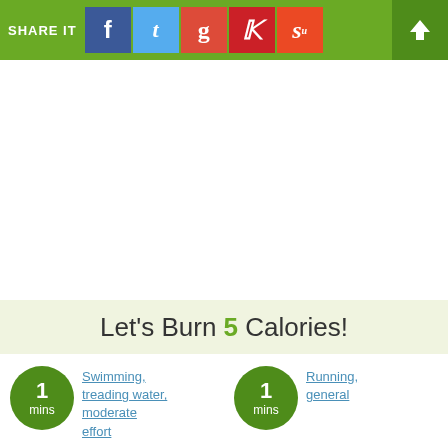SHARE IT
Let's Burn 5 Calories!
[Figure (infographic): Green circle badge showing '1 mins' next to activity link]
Swimming, treading water, moderate effort
[Figure (infographic): Green circle badge showing '1 mins' next to activity link]
Running, general